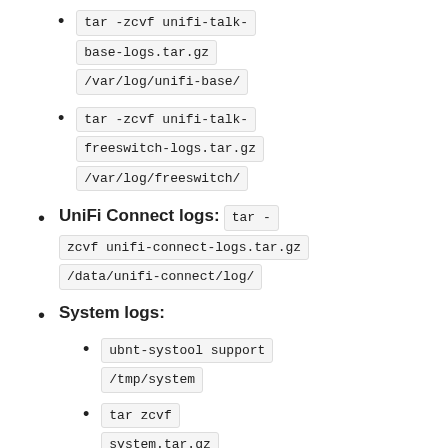tar -zcvf unifi-talk-base-logs.tar.gz /var/log/unifi-base/
tar -zcvf unifi-talk-freeswitch-logs.tar.gz /var/log/freeswitch/
UniFi Connect logs: tar -zcvf unifi-connect-logs.tar.gz /data/unifi-connect/log/
System logs:
ubnt-systool support /tmp/system
tar zcvf system.tar.gz /tmp/system